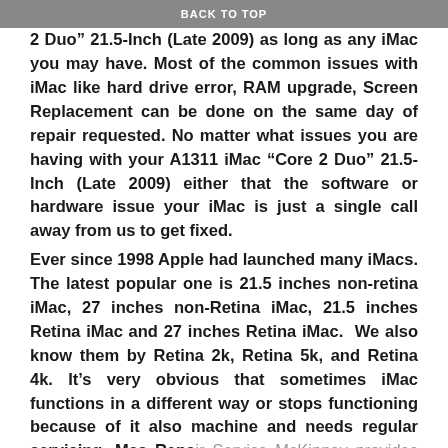BACK TO TOP
2 Duo” 21.5-Inch (Late 2009) as long as any iMac you may have. Most of the common issues with iMac like hard drive error, RAM upgrade, Screen Replacement can be done on the same day of repair requested. No matter what issues you are having with your A1311 iMac “Core 2 Duo” 21.5-Inch (Late 2009) either that the software or hardware issue your iMac is just a single call away from us to get fixed.
Ever since 1998 Apple had launched many iMacs. The latest popular one is 21.5 inches non-retina iMac, 27 inches non-Retina iMac, 21.5 inches Retina iMac and 27 inches Retina iMac. We also know them by Retina 2k, Retina 5k, and Retina 4k. It’s very obvious that sometimes iMac functions in a different way or stops functioning because of it also machine and needs regular servicing. Mac Repair Service McKinney provides top to bottom services for all kind of Apple iMacs.